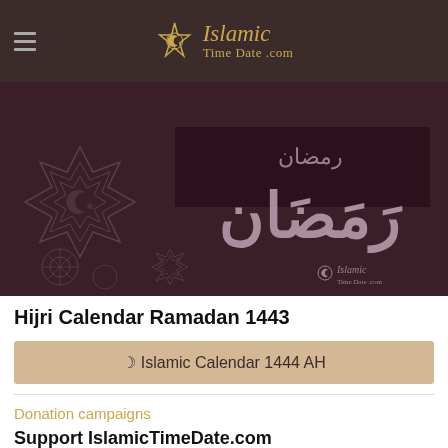Islamic TimeDate.com
[Figure (illustration): Ramadan-themed decorative banner with Arabic calligraphy reading Ramadan, geometric Islamic star patterns, crescent moon and star motifs, on a dark maroon background. IslamicTimeDate.com watermark visible bottom right.]
Hijri Calendar Ramadan 1443
☽ Islamic Calendar 1444 AH
Donation campaigns
Support IslamicTimeDate.com
Your little support can help millions of Muslims finding accurate